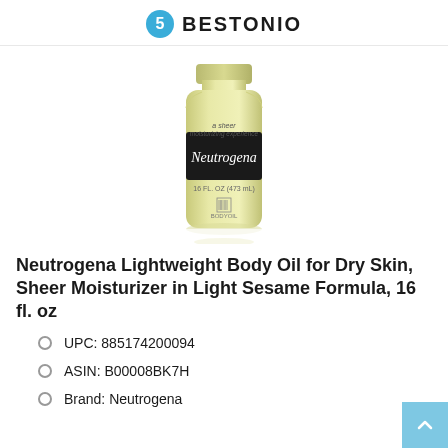BESTONIO
[Figure (photo): Neutrogena Lightweight Body Oil bottle, light yellow-green color, 16 fl. oz / 473 mL, with Neutrogena brand label on dark band]
Neutrogena Lightweight Body Oil for Dry Skin, Sheer Moisturizer in Light Sesame Formula, 16 fl. oz
UPC: 885174200094
ASIN: B00008BK7H
Brand: Neutrogena